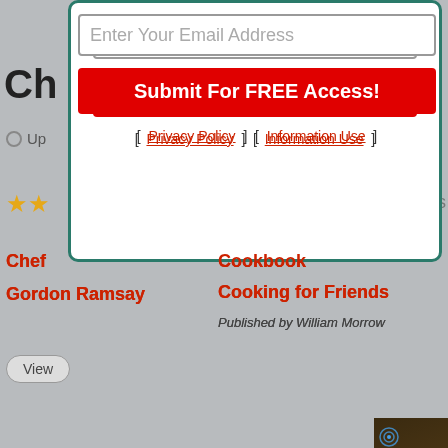[Figure (screenshot): Background webpage showing chef cookbook listing for Gordon Ramsay - Cooking for Friends, with star ratings, View button, and food photography]
[Figure (screenshot): Modal popup overlay with email input field, red Submit For FREE Access button, and Privacy Policy / Information Use links]
[Figure (screenshot): Video overlay showing Cheesy Tater Tot Casserole with play button controls, mute button, and radar icon]